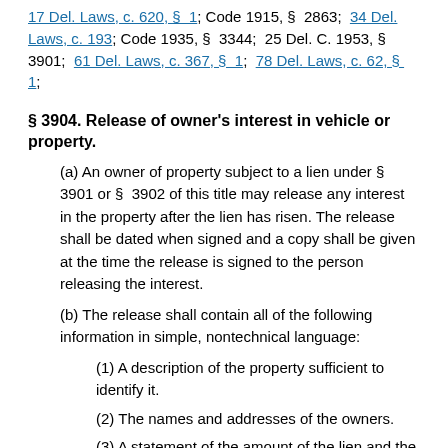17 Del. Laws, c. 620, § 1; Code 1915, § 2863; 34 Del. Laws, c. 193; Code 1935, § 3344; 25 Del. C. 1953, § 3901; 61 Del. Laws, c. 367, § 1; 78 Del. Laws, c. 62, § 1;
§ 3904. Release of owner's interest in vehicle or property.
(a) An owner of property subject to a lien under § 3901 or § 3902 of this title may release any interest in the property after the lien has risen. The release shall be dated when signed and a copy shall be given at the time the release is signed to the person releasing the interest.
(b) The release shall contain all of the following information in simple, nontechnical language:
(1) A description of the property sufficient to identify it.
(2) The names and addresses of the owners.
(3) A statement of the amount of the lien and the facts concerning the claim which gives rise to the lien.
(4) A statement that the person releasing the interest understands that the person has a legal right to a hearing in court prior to any sale of the property to satisfy the lien and the person is giving up the right to appear to contest the claim of the lienholder.